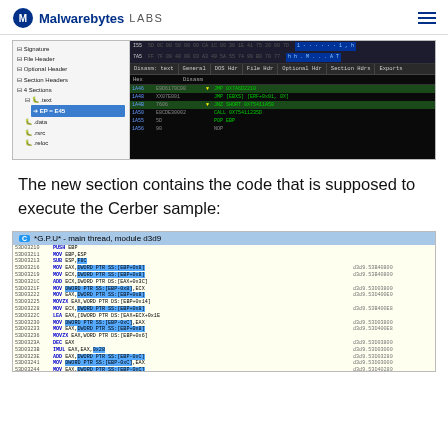Malwarebytes LABS
[Figure (screenshot): PE file structure viewer showing .text section with hex and disassembly view including JMP, JNZ, CALL, POP, NOP instructions]
The new section contains the code that is supposed to execute the Cerber sample:
[Figure (screenshot): x64dbg/OllyDbg-style disassembly window titled '*G.P.U* - main thread, module d3d9' showing assembly code at addresses 53D03210 through bottom, with instructions like PUSH EBP, MOV EBP ESP, SUB ESP, MOV, ADD, LEA, MOVZX, DEC, IMUL, PUSH, etc., with comments referencing d3d9.53B40800 and similar addresses]